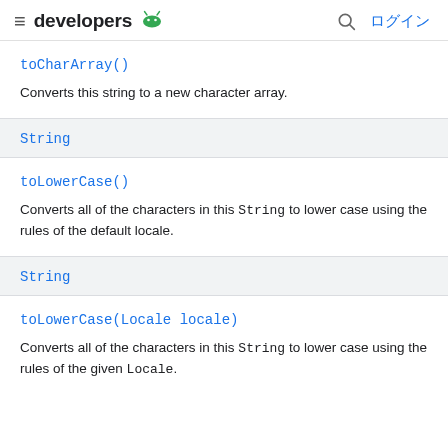developers [android logo] ログイン
toCharArray()
Converts this string to a new character array.
String
toLowerCase()
Converts all of the characters in this String to lower case using the rules of the default locale.
String
toLowerCase(Locale locale)
Converts all of the characters in this String to lower case using the rules of the given Locale.